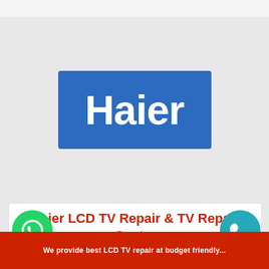[Figure (logo): Haier brand logo — white text 'Haier' on blue rectangle background]
Haier LCD TV Repair & TV Repair Center Dwarka
[Figure (illustration): Small monitor/TV icon in outline style]
[Figure (illustration): WhatsApp green circular button icon at bottom left]
[Figure (illustration): Phone call teal circular button icon at bottom right]
We provide best LCD TV repair at budget friendly...